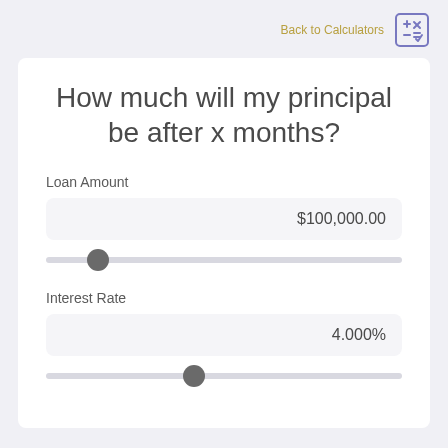Back to Calculators
How much will my principal be after x months?
Loan Amount
$100,000.00
Interest Rate
4.000%